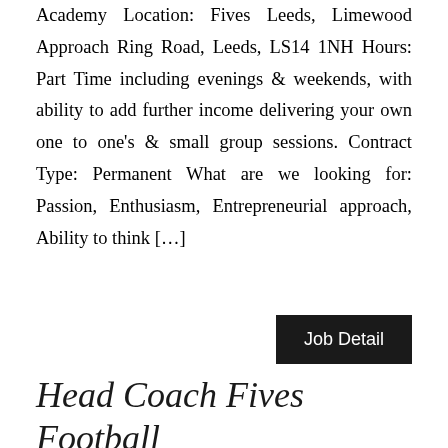Academy Location: Fives Leeds, Limewood Approach Ring Road, Leeds, LS14 1NH Hours: Part Time including evenings & weekends, with ability to add further income delivering your own one to one's & small group sessions. Contract Type: Permanent What are we looking for: Passion, Enthusiasm, Entrepreneurial approach, Ability to think […]
Job Detail
Head Coach Fives Football Academy – Fives Football